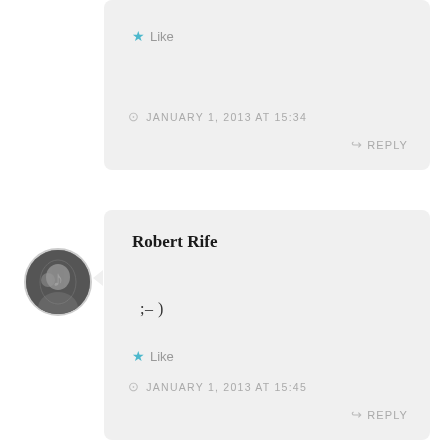Like
JANUARY 1, 2013 AT 15:34
REPLY
Robert Rife
;-)
Like
JANUARY 1, 2013 AT 15:45
REPLY